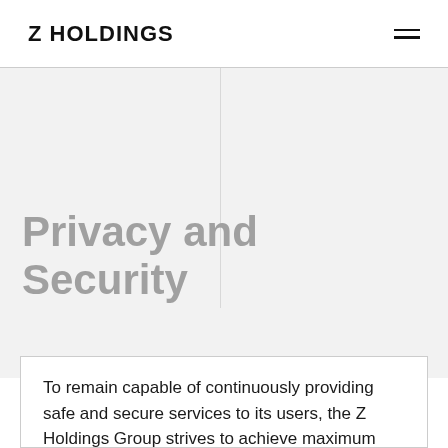Z HOLDINGS
Privacy and Security
To remain capable of continuously providing safe and secure services to its users, the Z Holdings Group strives to achieve maximum